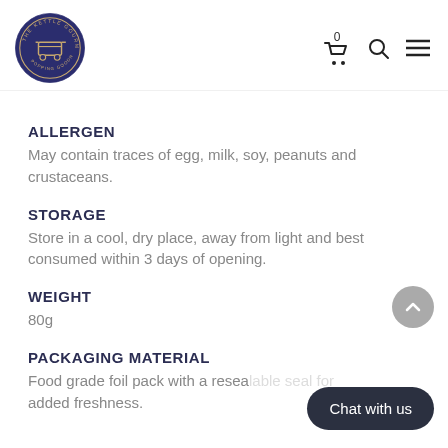The Kettle Gourmet logo, cart (0), search, and menu icons
ALLERGEN
May contain traces of egg, milk, soy, peanuts and crustaceans.
STORAGE
Store in a cool, dry place, away from light and best consumed within 3 days of opening.
WEIGHT
80g
PACKAGING MATERIAL
Food grade foil pack with a resealable seal for added freshness.